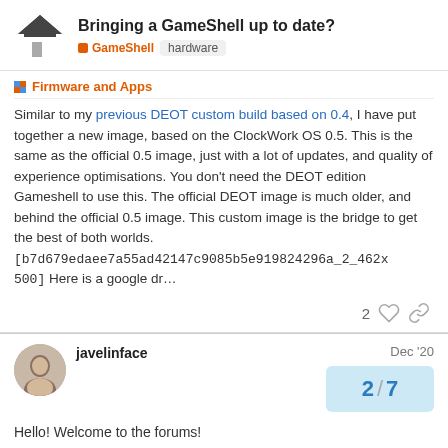Bringing a GameShell up to date?
GameShell  hardware
Firmware and Apps
Similar to my previous DEOT custom build based on 0.4, I have put together a new image, based on the ClockWork OS 0.5. This is the same as the official 0.5 image, just with a lot of updates, and quality of experience optimisations. You don't need the DEOT edition Gameshell to use this. The official DEOT image is much older, and behind the official 0.5 image. This custom image is the bridge to get the best of both worlds.
[b7d679edaee7a55ad42147c9085b5e919824296a_2_462x500] Here is a google dr…
2
javelinface  Dec '20
2 / 7
Hello! Welcome to the forums!